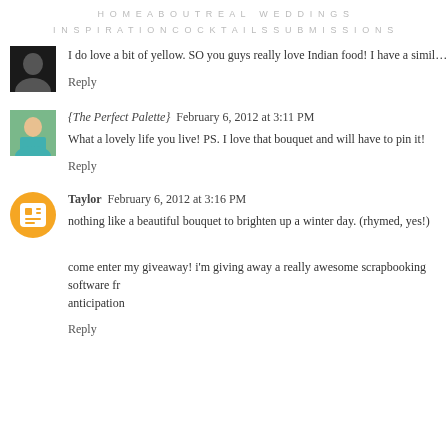HOME   ABOUT   REAL WEDDINGS   INSPIRATION   COCKTAILS   SUBMISSIONS
I do love a bit of yellow. SO you guys really love Indian food! I have a similar obsessi
Reply
{The Perfect Palette}  February 6, 2012 at 3:11 PM
What a lovely life you live! PS. I love that bouquet and will have to pin it!
Reply
Taylor  February 6, 2012 at 3:16 PM
nothing like a beautiful bouquet to brighten up a winter day. (rhymed, yes!)
come enter my giveaway! i'm giving away a really awesome scrapbooking software fr anticipation
Reply